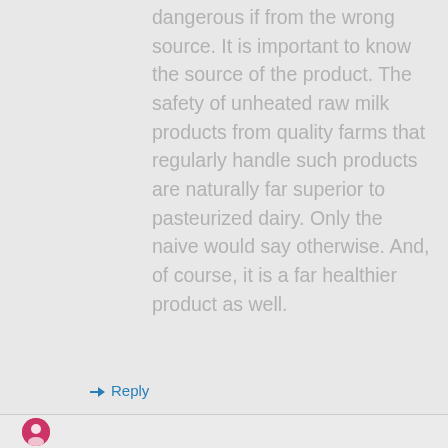dangerous if from the wrong source. It is important to know the source of the product. The safety of unheated raw milk products from quality farms that regularly handle such products are naturally far superior to pasteurized dairy. Only the naive would say otherwise. And, of course, it is a far healthier product as well.
Reply